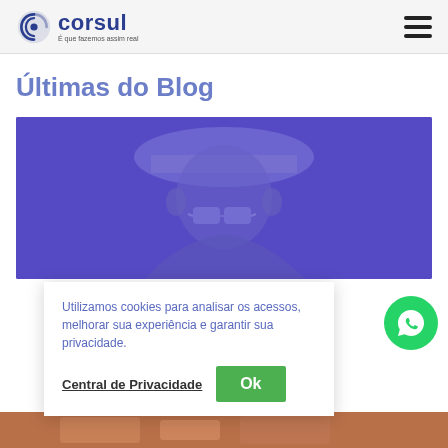[Figure (logo): Corsul logo with circular icon and text 'corsul' in dark blue, tagline below]
[Figure (illustration): Hamburger menu icon (three horizontal bars)]
Últimas do Blog
[Figure (photo): Purple-tinted image of a person wearing a hard hat and safety glasses]
Utilizamos cookies para analisar os acessos, melhorar sua experiência e garantir sua privacidade.
Central de Privacidade
Ok
[Figure (photo): Close-up photo at bottom of page, appears to show hands]